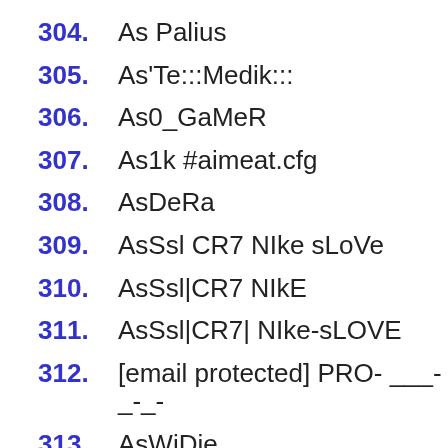304. As Palius
305. As'Te:::Medik:::
306. As0_GaMeR
307. As1k #aimeat.cfg
308. AsDeRa
309. AsSsl CR7 NIke sLoVe
310. AsSsl|CR7 NIkE
311. AsSsl|CR7| NIke-sLOVE
312. [email protected] PRO- ___-_-_-
313. AsWiDie
314. AsYan_)
315. As`Te > -=HIRURG=-